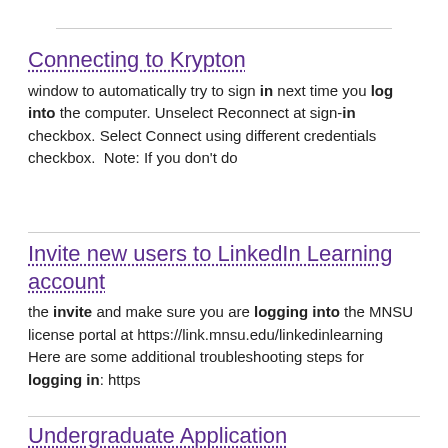Connecting to Krypton
window to automatically try to sign in next time you log into the computer. Unselect Reconnect at sign-in checkbox. Select Connect using different credentials checkbox.  Note: If you don't do
Invite new users to LinkedIn Learning account
the invite and make sure you are logging into the MNSU license portal at https://link.mnsu.edu/linkedinlearning   Here are some additional troubleshooting steps for logging in: https
Undergraduate Application
left menu Log in with your StarID and password In Student Detail section Add or Edit the Diploma Address as needed In Application Detail section Select your Catalog term from the